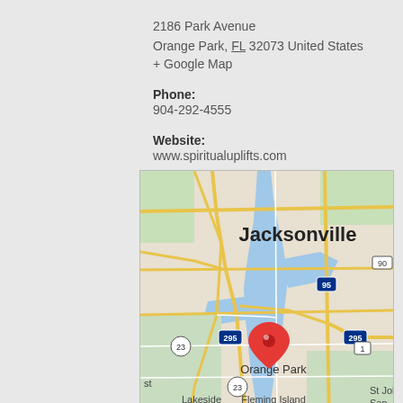2186 Park Avenue
Orange Park, FL 32073 United States
+ Google Map
Phone:
904-292-4555
Website:
www.spiritualuplifts.com
[Figure (map): Google Map showing Jacksonville, FL area with a red pin marker on Orange Park. Labels include Jacksonville, Orange Park, Lakeside, Fleming Island, St Johns, Middleburg, Asbury Lake, and interstate highways 95, 90, 295, 23, 1.]